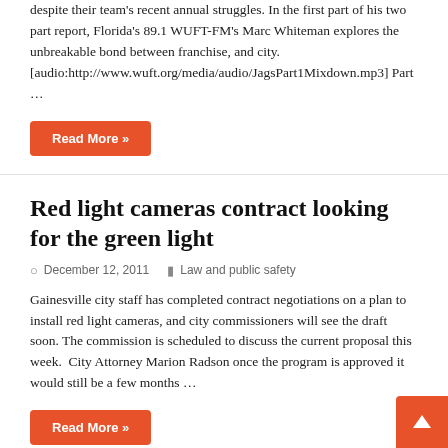despite their team's recent annual struggles. In the first part of his two part report, Florida's 89.1 WUFT-FM's Marc Whiteman explores the unbreakable bond between franchise, and city. [audio:http://www.wuft.org/media/audio/JagsPart1Mixdown.mp3] Part …
Read More »
Red light cameras contract looking for the green light
December 12, 2011   Law and public safety
Gainesville city staff has completed contract negotiations on a plan to install red light cameras, and city commissioners will see the draft soon. The commission is scheduled to discuss the current proposal this week.  City Attorney Marion Radson once the program is approved it would still be a few months …
Read More »